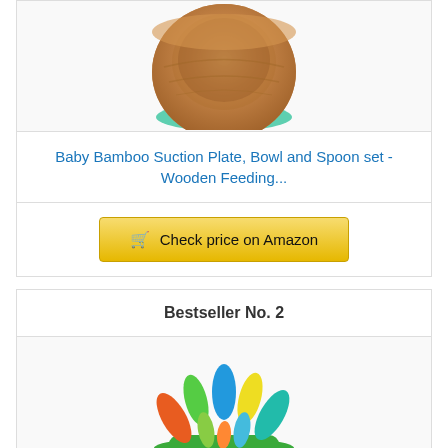[Figure (photo): Photo of a bamboo suction bowl with mint green suction base, cropped at top]
Baby Bamboo Suction Plate, Bowl and Spoon set - Wooden Feeding...
Check price on Amazon
Bestseller No. 2
[Figure (photo): Photo of colorful finger puppet or sensory toy set in green, blue, yellow and orange colors]